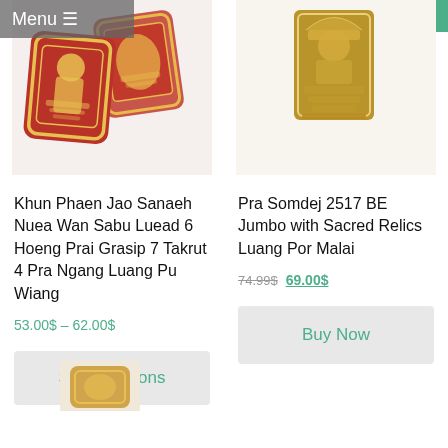Menu ≡
Sale!
[Figure (photo): Thai Buddhist amulet - Khun Phaen Jao Sanaeh Nuea Wan Sabu Luead clay tablets with gold relief, reddish-brown color]
[Figure (photo): Thai Buddhist amulet - Pra Somdej 2517 BE Jumbo with Sacred Relics Luang Por Malai, golden antique amulet with a Sale badge]
Khun Phaen Jao Sanaeh Nuea Wan Sabu Luead 6 Hoeng Prai Grasip 7 Takrut 4 Pra Ngang Luang Pu Wiang
53.00$ – 62.00$
Pra Somdej 2517 BE Jumbo with Sacred Relics Luang Por Malai
74.99$ 69.00$
Buy Now
Select options
[Figure (photo): Partial view of another Thai Buddhist amulet at bottom of page]